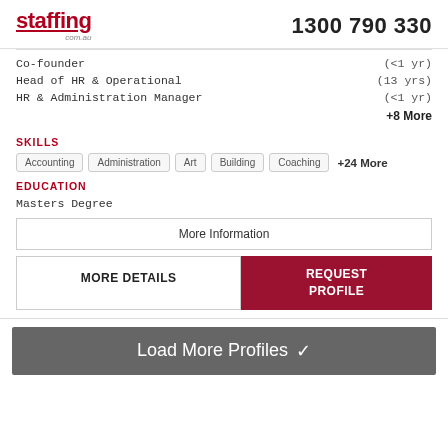staffing.com.au  1300 790 330
Co-founder  (<1 yr)
Head of HR & Operational  (13 yrs)
HR & Administration Manager  (<1 yr)
+8 More
SKILLS
Accounting  Administration  Art  Building  Coaching  +24 More
EDUCATION
Masters Degree
More Information
MORE DETAILS  REQUEST PROFILE
Load More Profiles